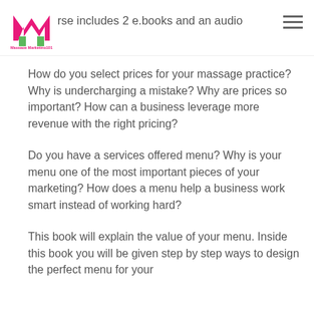rse includes 2 e.books and an audio
How do you select prices for your massage practice? Why is undercharging a mistake? Why are prices so important? How can a business leverage more revenue with the right pricing?
Do you have a services offered menu? Why is your menu one of the most important pieces of your marketing? How does a menu help a business work smart instead of working hard?
This book will explain the value of your menu. Inside this book you will be given step by step ways to design the perfect menu for your